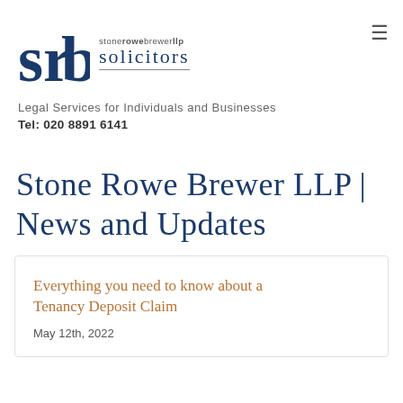[Figure (logo): Stone Rowe Brewer LLP solicitors logo with 'srb' monogram in dark blue and firm name text]
Legal Services for Individuals and Businesses
Tel: 020 8891 6141
Stone Rowe Brewer LLP | News and Updates
Everything you need to know about a Tenancy Deposit Claim
May 12th, 2022